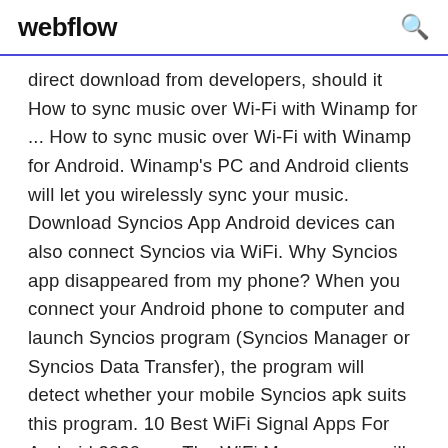webflow
direct download from developers, should it How to sync music over Wi-Fi with Winamp for ... How to sync music over Wi-Fi with Winamp for Android. Winamp's PC and Android clients will let you wirelessly sync your music. Download Syncios App Android devices can also connect Syncios via WiFi. Why Syncios app disappeared from my phone? When you connect your Android phone to computer and launch Syncios program (Syncios Manager or Syncios Data Transfer), the program will detect whether your mobile Syncios apk suits this program. 10 Best WiFi Signal Apps For Android 2020 – ... The WiFi Manager app will not help